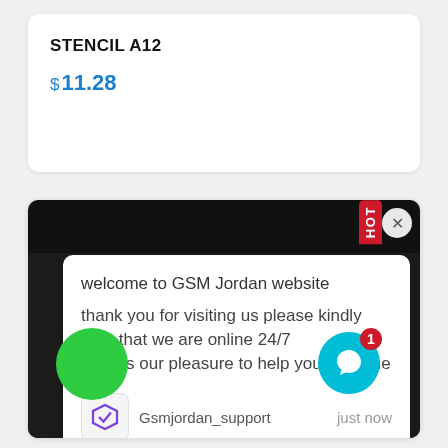STENCIL A12
$ 11.28
[Figure (screenshot): Product listing card showing STENCIL A12 for $11.28, and below a chat popup overlay on a dark background image of a stencil sheet. The chat popup from Gsmjordan_support reads: welcome to GSM Jordan website / thank you for visiting us please kindly note that we are online 24/7 / and it's our pleasure to help you any time. A HOT badge, close X button, green circle button, and teal chat button with notification badge 1 are also visible.]
welcome to GSM Jordan website
thank you for visiting us please kindly note that we are online 24/7
and it's our pleasure to help you any time
Gsmjordan_support
just now